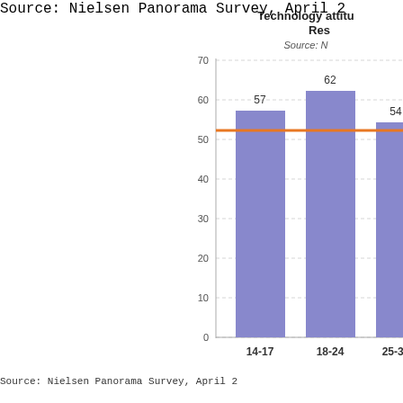[Figure (bar-chart): Technology attitu... Res...]
Source: Nielsen Panorama Survey, April 2...